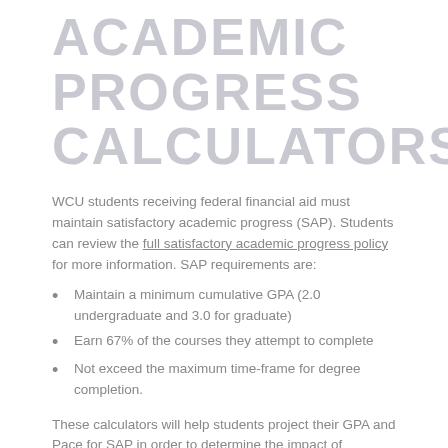ACADEMIC PROGRESS CALCULATORS
WCU students receiving federal financial aid must maintain satisfactory academic progress (SAP). Students can review the full satisfactory academic progress policy for more information. SAP requirements are:
Maintain a minimum cumulative GPA (2.0 undergraduate and 3.0 for graduate)
Earn 67% of the courses they attempt to complete
Not exceed the maximum time-frame for degree completion.
These calculators will help students project their GPA and Pace for SAP in order to determine the impact of withdrawing and/or not passing a course.